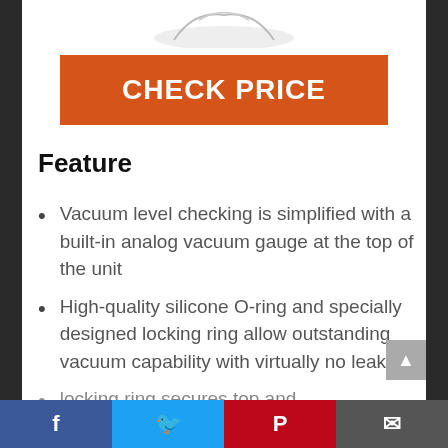[Figure (photo): Partial product image visible at the top of the page]
CHECK PRICE
Feature
Vacuum level checking is simplified with a built-in analog vacuum gauge at the top of the unit
High-quality silicone O-ring and specially designed locking ring allow outstanding vacuum capability with virtually no leakage
locking ring secures top and
Facebook | Twitter | Pinterest | Email